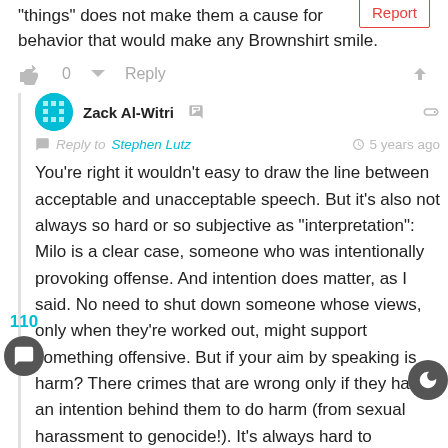“things” does not make them a cause for behavior that would make any Brownshirt smile.
Report
0  Reply
Zack Al-Witri
Reply to Stephen Lutz   5 years ago
You’re right it wouldn’t easy to draw the line between acceptable and unacceptable speech. But it’s also not always so hard or so subjective as “interpretation”: Milo is a clear case, someone who was intentionally provoking offense. And intention does matter, as I said. No need to shut down someone whose views, only when they’re worked out, might support something offensive. But if your aim by speaking is harm? There crimes that are wrong only if they have an intention behind them to do harm (from sexual harassment to genocide!). It’s always hard to establish intent, but that’s not a reason to say “well then it’s ok.”
110